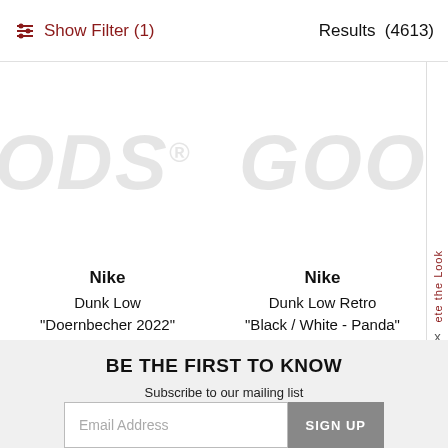Show Filter (1)    Results (4613)
[Figure (logo): GOODS® watermark repeated twice in large grey italic text]
Nike
Dunk Low
"Doernbecher 2022"
$410
Nike
Dunk Low Retro
"Black / White - Panda"
$240
BE THE FIRST TO KNOW
Subscribe to our mailing list for updates on new arrivals, sales, special events, and much more.